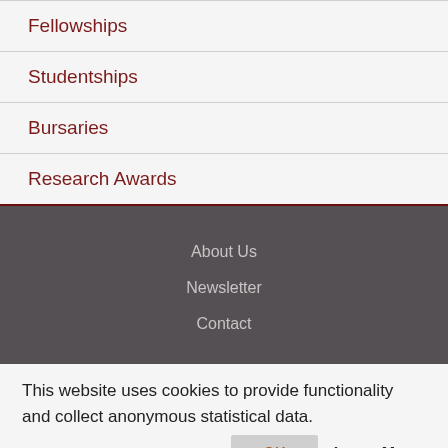Fellowships
Studentships
Bursaries
Research Awards
About Us
Newsletter
Contact
This website uses cookies to provide functionality and collect anonymous statistical data.
OK   Learn More